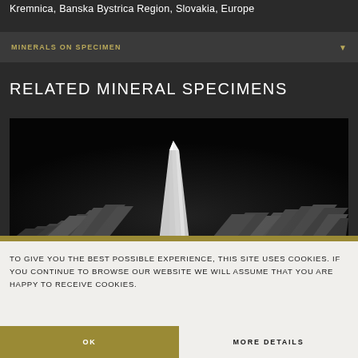Kremnica, Banska Bystrica Region, Slovakia, Europe
MINERALS ON SPECIMEN
RELATED MINERAL SPECIMENS
[Figure (photo): Close-up photograph of a mineral crystal specimen (stibnite or similar metallic mineral with a tall white/clear crystal point) on a black background]
TO GIVE YOU THE BEST POSSIBLE EXPERIENCE, THIS SITE USES COOKIES. IF YOU CONTINUE TO BROWSE OUR WEBSITE WE WILL ASSUME THAT YOU ARE HAPPY TO RECEIVE COOKIES.
OK
MORE DETAILS